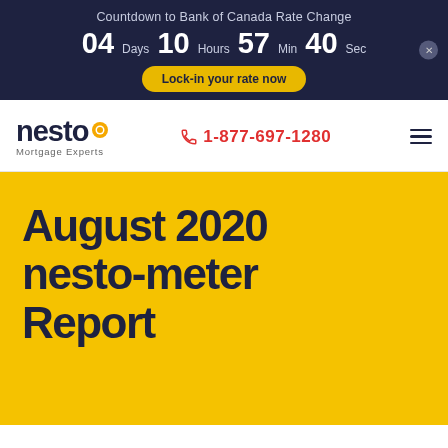Countdown to Bank of Canada Rate Change
04 Days 10 Hours 57 Min 40 Sec
Lock-in your rate now
[Figure (logo): nesto Mortgage Experts logo with sun/circle icon]
1-877-697-1280
August 2020 nesto-meter Report